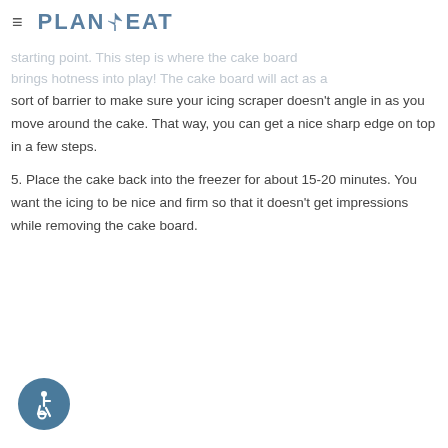≡ PLAN⇕EAT
starting point. This step is where the cake board brings hotness into play! The cake board will act as a sort of barrier to make sure your icing scraper doesn't angle in as you move around the cake. That way, you can get a nice sharp edge on top in a few steps.
5. Place the cake back into the freezer for about 15-20 minutes. You want the icing to be nice and firm so that it doesn't get impressions while removing the cake board.